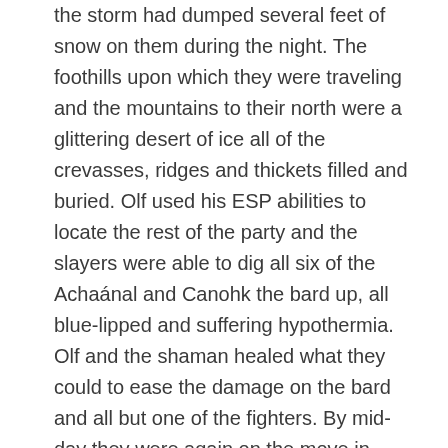the storm had dumped several feet of snow on them during the night. The foothills upon which they were traveling and the mountains to their north were a glittering desert of ice all of the crevasses, ridges and thickets filled and buried. Olf used his ESP abilities to locate the rest of the party and the slayers were able to dig all six of the Achaánal and Canohk the bard up, all blue-lipped and suffering hypothermia. Olf and the shaman healed what they could to ease the damage on the bard and all but one of the fighters. By mid-day they were again on the move in snow up to their waists. They had managed to cover about 4 miles by Vor's reckoning spotting a large probably heavy-weight brown dragon in the clouds above when they were half that distance. None of them could identify it. Come evening Vor found a great place to dig a shelter at the base of a pair of rocks setting the fighters to do the actual digging. As they were getting ready to occupy the burrow Grom took the time to